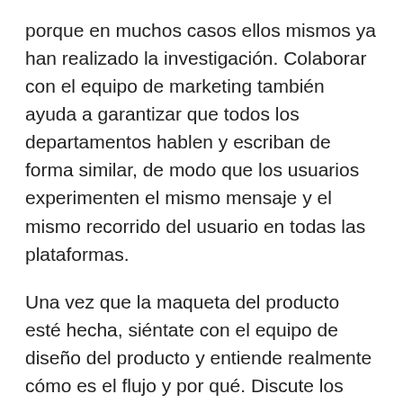porque en muchos casos ellos mismos ya han realizado la investigación. Colaborar con el equipo de marketing también ayuda a garantizar que todos los departamentos hablen y escriban de forma similar, de modo que los usuarios experimenten el mismo mensaje y el mismo recorrido del usuario en todas las plataformas.
Una vez que la maqueta del producto esté hecha, siéntate con el equipo de diseño del producto y entiende realmente cómo es el flujo y por qué. Discute los casos de uso, comprueba cada versión de una pantalla, entiende el comportamiento del producto y lo que se espera de los usuarios.